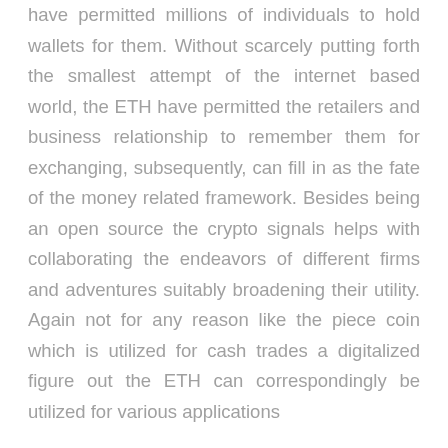have permitted millions of individuals to hold wallets for them. Without scarcely putting forth the smallest attempt of the internet based world, the ETH have permitted the retailers and business relationship to remember them for exchanging, subsequently, can fill in as the fate of the money related framework. Besides being an open source the crypto signals helps with collaborating the endeavors of different firms and adventures suitably broadening their utility. Again not for any reason like the piece coin which is utilized for cash trades a digitalized figure out the ETH can correspondingly be utilized for various applications